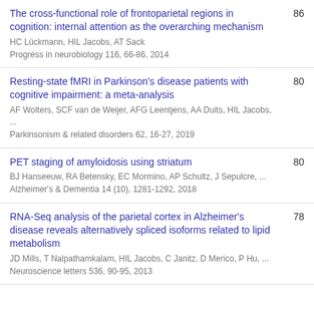The cross-functional role of frontoparietal regions in cognition: internal attention as the overarching mechanism | HC Lückmann, HIL Jacobs, AT Sack | Progress in neurobiology 116, 66-86, 2014 | 86
Resting-state fMRI in Parkinson's disease patients with cognitive impairment: a meta-analysis | AF Wolters, SCF van de Weijer, AFG Leentjens, AA Duits, HIL Jacobs, ... | Parkinsonism & related disorders 62, 16-27, 2019 | 80
PET staging of amyloidosis using striatum | BJ Hanseeuw, RA Betensky, EC Mormino, AP Schultz, J Sepulcre, ... | Alzheimer's & Dementia 14 (10), 1281-1292, 2018 | 80
RNA-Seq analysis of the parietal cortex in Alzheimer's disease reveals alternatively spliced isoforms related to lipid metabolism | JD Mills, T Nalpathamkalam, HIL Jacobs, C Janitz, D Merico, P Hu, ... | Neuroscience letters 536, 90-95, 2013 | 78